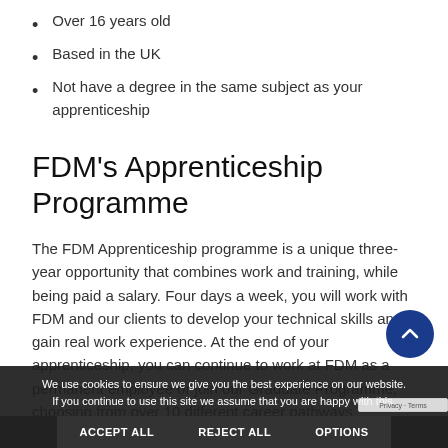Over 16 years old
Based in the UK
Not have a degree in the same subject as your apprenticeship
FDM's Apprenticeship Programme
The FDM Apprenticeship programme is a unique three-year opportunity that combines work and training, while being paid a salary. Four days a week, you will work with FDM and our clients to develop your technical skills and gain real work experience. At the end of your apprenticeship, you can continue to work at FDM as a permanent employee or join our Graduate Programme, choosing from over 10 different career pathways
We use cookies to ensure we give you the best experience on our website. If you continue to use this site we assume that you are happy with this.